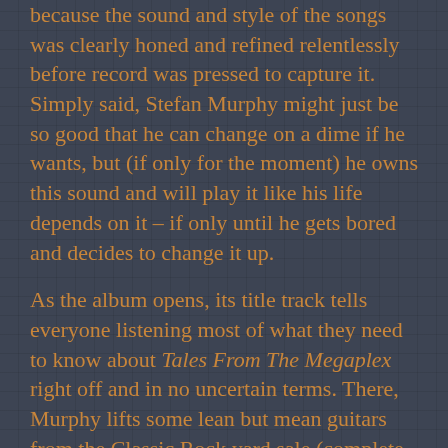because the sound and style of the songs was clearly honed and refined relentlessly before record was pressed to capture it. Simply said, Stefan Murphy might just be so good that he can change on a dime if he wants, but (if only for the moment) he owns this sound and will play it like his life depends on it – if only until he gets bored and decides to change it up.
As the album opens, its title track tells everyone listening most of what they need to know about Tales From The Megaplex right off and in no uncertain terms. There, Murphy lifts some lean but mean guitars from the Classic Rock yard sale (complete with shades of the Rolling Stones, Dandy Warhols and Brian Jonestown Massacre) and pushes them along in a manner which sounds like it might be the best tune Keith Richards never wrote. Every element within the song has been perfectly manicured to present that kind of image, but the real